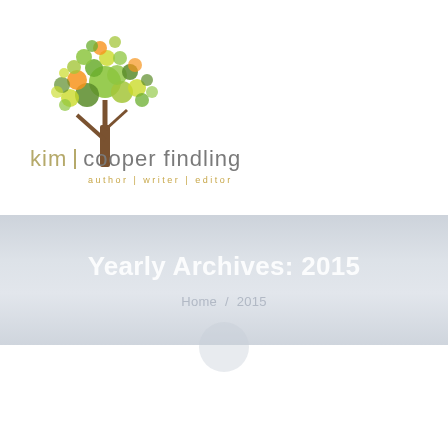[Figure (logo): Kim Cooper Findling author website logo: a stylized tree with colorful green, yellow, and orange dot-circles as foliage, brown trunk, with text 'kim | cooper findling' and tagline 'author | writer | editor']
Yearly Archives: 2015
Home / 2015